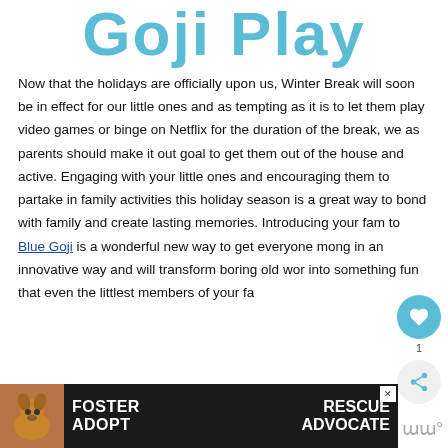Goji Play
Now that the holidays are officially upon us, Winter Break will soon be in effect for our little ones and as tempting as it is to let them play video games or binge on Netflix for the duration of the break, we as parents should make it out goal to get them out of the house and active. Engaging with your little ones and encouraging them to partake in family activities this holiday season is a great way to bond with family and create lasting memories. Introducing your family to Blue Goji is a wonderful new way to get everyone moving in an innovative way and will transform boring old workouts into something fun that even the littlest members of your family
[Figure (photo): Advertisement banner showing a dog (beagle) with text FOSTER ADOPT on the left and RESCUE ADVOCATE on the right on a dark background with a close button]